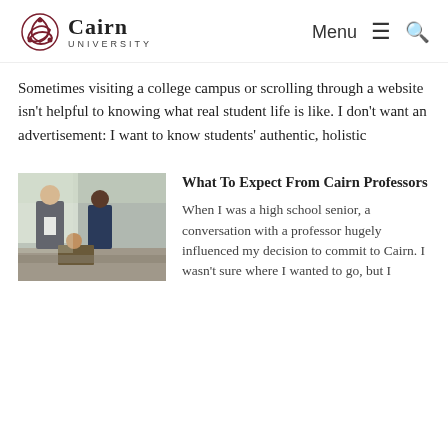Cairn University — Menu [hamburger] [search]
Sometimes visiting a college campus or scrolling through a website isn't helpful to knowing what real student life is like. I don't want an advertisement: I want to know students' authentic, holistic
[Figure (photo): A professor standing and talking with students in a classroom setting; a man in a suit gestures toward a student.]
What To Expect From Cairn Professors
When I was a high school senior, a conversation with a professor hugely influenced my decision to commit to Cairn. I wasn't sure where I wanted to go, but I